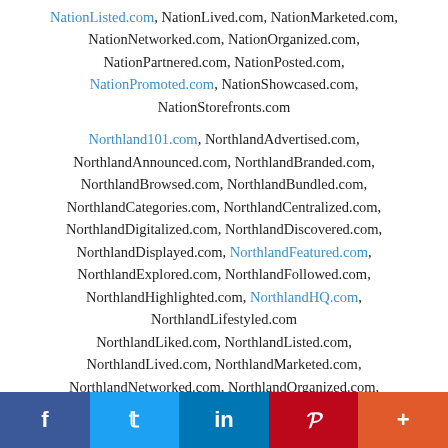NationListed.com, NationLived.com, NationMarketed.com, NationNetworked.com, NationOrganized.com, NationPartnered.com, NationPosted.com, NationPromoted.com, NationShowcased.com, NationStorefronts.com
Northland101.com, NorthlandAdvertised.com, NorthlandAnnounced.com, NorthlandBranded.com, NorthlandBrowsed.com, NorthlandBundled.com, NorthlandCategories.com, NorthlandCentralized.com, NorthlandDigitalized.com, NorthlandDiscovered.com, NorthlandDisplayed.com, NorthlandFeatured.com, NorthlandExplored.com, NorthlandFollowed.com, NorthlandHighlighted.com, NorthlandHQ.com, NorthlandLifestyled.com NorthlandLiked.com, NorthlandListed.com, NorthlandLived.com, NorthlandMarketed.com, NorthlandNetworked.com, NorthlandOrganized.com,
f  Twitter  in  Pinterest  +